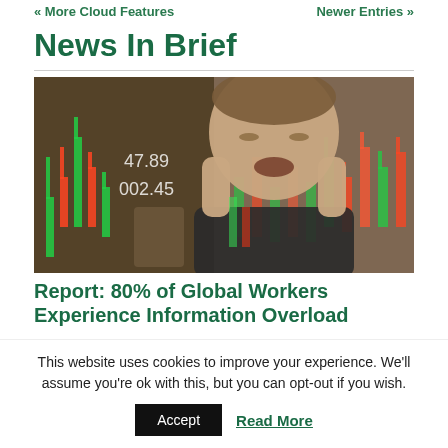« More Cloud Features    Newer Entries »
News In Brief
[Figure (photo): A stressed businessman holding his head in his hands, with stock market candlestick charts overlaid on the image in a double-exposure style.]
Report: 80% of Global Workers Experience Information Overload
This website uses cookies to improve your experience. We'll assume you're ok with this, but you can opt-out if you wish.
Accept   Read More